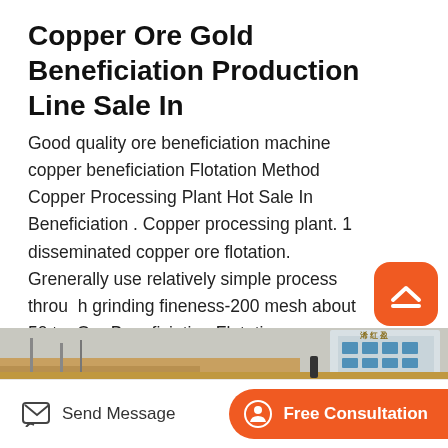Copper Ore Gold Beneficiation Production Line Sale In
Good quality ore beneficiation machine copper beneficiation Flotation Method Copper Processing Plant Hot Sale In Beneficiation . Copper processing plant. 1 disseminated copper ore flotation. Grenerally use relatively simple process through grinding fineness-200 mesh about 50 to. Ore Beneficiation Flotation Processes - THE BOC GROUP.
[Figure (photo): Photograph of an industrial building/plant facility with Chinese characters on the facade, showing a grey building structure with windows]
Send Message | Free Consultation